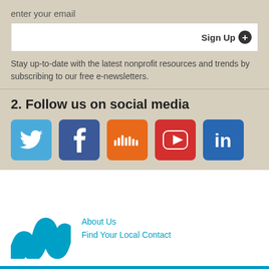enter your email
Sign Up +
Stay up-to-date with the latest nonprofit resources and trends by subscribing to our free e-newsletters.
2. Follow us on social media
[Figure (infographic): Row of 5 social media icons: Twitter (blue bird), Facebook (blue f), SoundCloud (orange waveform), YouTube (red play button), LinkedIn (blue in)]
[Figure (logo): Blue stylized W or wave logo mark]
About Us
Find Your Local Contact
Find Your State's Contact